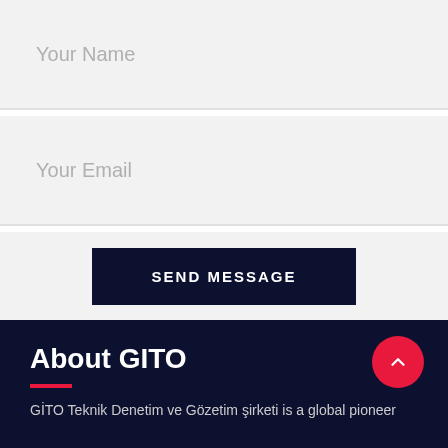Your Name
Your Email
SEND MESSAGE
About GITO
GİTO Teknik Denetim ve Gözetim şirketi is a global pioneer